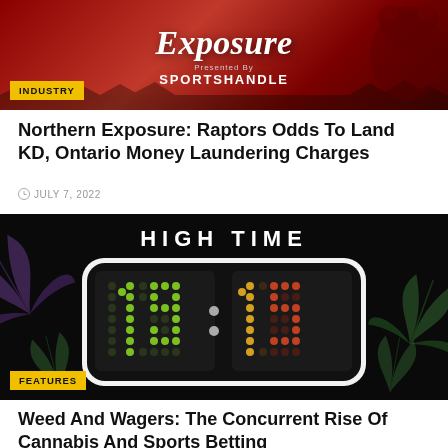[Figure (illustration): Red background banner image with 'Exposure' in large italic white text, 'Presented by SPORTSHANDLE' below, bear silhouette on right, dark tree silhouettes at bottom, with INDUSTRY badge overlay]
Northern Exposure: Raptors Odds To Land KD, Ontario Money Laundering Charges
JULY 7, 2022
[Figure (illustration): Dark background image showing 'HIGH TIME' text at top with cannabis leaf decorations and a scoreboard-style display showing numbers '19' in green and '15' in yellow/red dot-matrix style, with FEATURES badge overlay]
Weed And Wagers: The Concurrent Rise Of Cannabis And Sports Betting